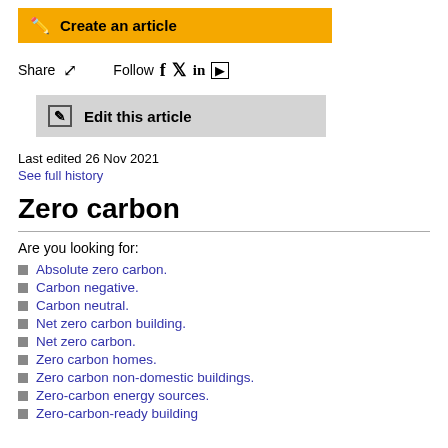Create an article
Share  Follow
Edit this article
Last edited 26 Nov 2021
See full history
Zero carbon
Are you looking for:
Absolute zero carbon.
Carbon negative.
Carbon neutral.
Net zero carbon building.
Net zero carbon.
Zero carbon homes.
Zero carbon non-domestic buildings.
Zero-carbon energy sources.
Zero-carbon-ready building